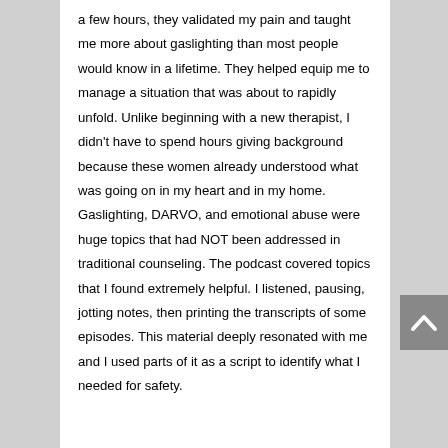a few hours, they validated my pain and taught me more about gaslighting than most people would know in a lifetime. They helped equip me to manage a situation that was about to rapidly unfold. Unlike beginning with a new therapist, I didn't have to spend hours giving background because these women already understood what was going on in my heart and in my home. Gaslighting, DARVO, and emotional abuse were huge topics that had NOT been addressed in traditional counseling. The podcast covered topics that I found extremely helpful. I listened, pausing, jotting notes, then printing the transcripts of some episodes. This material deeply resonated with me and I used parts of it as a script to identify what I needed for safety.